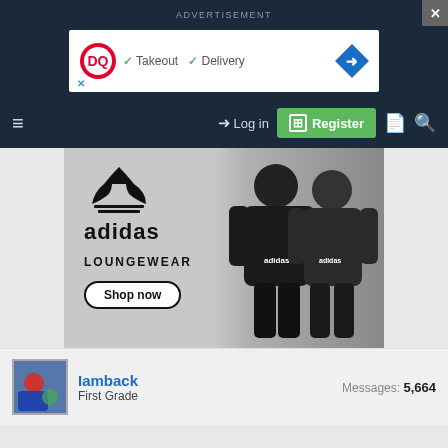ADVERTISEMENT
[Figure (screenshot): Dairy Queen advertisement banner showing DQ logo, checkmarks for Takeout and Delivery, and a blue navigation arrow icon]
[Figure (screenshot): Navigation bar with hamburger menu, Log in button, green Register button, document icon, and search icon]
[Figure (screenshot): Adidas Loungewear advertisement showing adidas trefoil logo, LOUNGEWEAR text, Shop now button, and two models wearing black adidas hoodies]
Iamback
First Grade
Messages: 5,664